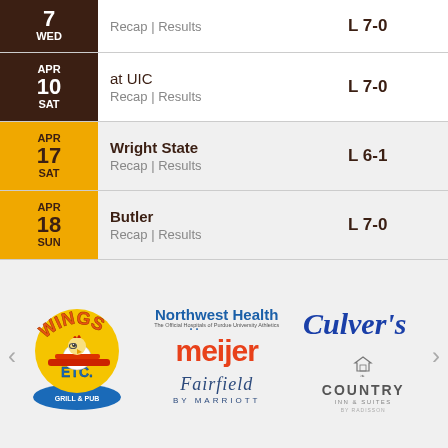| Date | Opponent | Result |
| --- | --- | --- |
| 7 WED | Recap | Results | L 7-0 |
| APR 10 SAT | at UIC
Recap | Results | L 7-0 |
| APR 17 SAT | Wright State
Recap | Results | L 6-1 |
| APR 18 SUN | Butler
Recap | Results | L 7-0 |
[Figure (logo): Wings ETC Grill & Pub logo with cartoon bird pilot]
[Figure (logo): Northwest Health - The Official Hospitals of Purdue University Athletics]
[Figure (logo): Culver's restaurant logo in blue italic script]
[Figure (logo): Meijer logo in orange with blue dots]
[Figure (logo): Country Inn & Suites by Radisson logo]
[Figure (logo): Fairfield by Marriott logo]